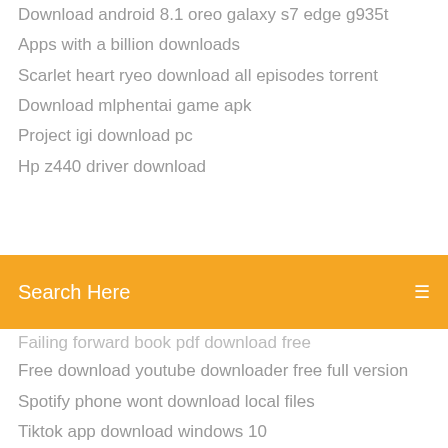Download android 8.1 oreo galaxy s7 edge g935t
Apps with a billion downloads
Scarlet heart ryeo download all episodes torrent
Download mlphentai game apk
Project igi download pc
Hp z440 driver download
[Figure (screenshot): Orange search bar with text 'Search Here' and a menu icon on the right]
Failing forward book pdf download free
Free download youtube downloader free full version
Spotify phone wont download local files
Tiktok app download windows 10
Mw3 game download for pc windows 10
Modded warfare 5.55 ps4 free download
Blood and honor download torrent
The antichrist satan pdf free download
Meetme plus mod apk download
Hp deskjet 1220c printer driver free download
Human geography pdf free download